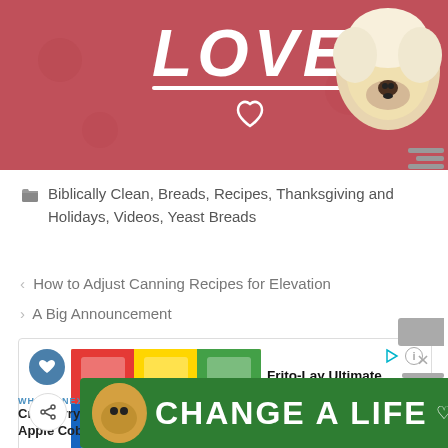[Figure (illustration): Pink/red banner with 'LOVE' text in white italic letters, a horizontal white underline, two white heart outlines, and a fluffy white/cream dog photo in upper right corner. Partially cropped at top.]
Biblically Clean, Breads, Recipes, Thanksgiving and Holidays, Videos, Yeast Breads
< How to Adjust Canning Recipes for Elevation
> A Big Announcement
[Figure (screenshot): Amazon advertisement box for Frito-Lay Ultimate Snack Care Package, Variety... priced at $26.23 with Prime, Rated 4.6 out of 5. Has blue heart button, share button, product image, and orange Buy Now button. Below box shows 'WHAT'S NEXT' label with 'Cranberry Apple Cobbl...' text and circular thumbnail.]
[Figure (illustration): Green banner advertisement with a dog photo and 'CHANGE A LIFE' text in white, with X close button. Partially cropped at bottom.]